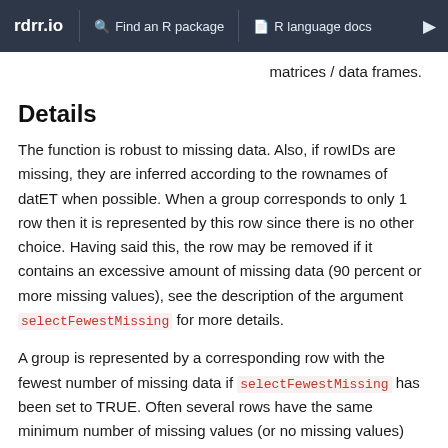rdrr.io   Find an R package   R language docs
matrices / data frames.
Details
The function is robust to missing data. Also, if rowIDs are missing, they are inferred according to the rownames of datET when possible. When a group corresponds to only 1 row then it is represented by this row since there is no other choice. Having said this, the row may be removed if it contains an excessive amount of missing data (90 percent or more missing values), see the description of the argument selectFewestMissing for more details.
A group is represented by a corresponding row with the fewest number of missing data if selectFewestMissing has been set to TRUE. Often several rows have the same minimum number of missing values (or no missing values) and a representative must be chosen among those rows. In this case we distinguish 2 situations: (1) if...